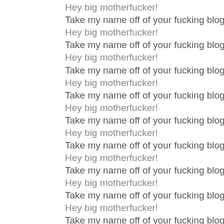Hey big motherfucker!
Take my name off of your fucking blog!
Hey big motherfucker!
Take my name off of your fucking blog!
Hey big motherfucker!
Take my name off of your fucking blog!
Hey big motherfucker!
Take my name off of your fucking blog!
Hey big motherfucker!
Take my name off of your fucking blog!
Hey big motherfucker!
Take my name off of your fucking blog!
Hey big motherfucker!
Take my name off of your fucking blog!
Hey big motherfucker!
Take my name off of your fucking blog!
Hey big motherfucker!
Take my name off of your fucking blog!
Hey big motherfucker!
Take my name off of your fucking blog!
Hey big motherfucker!
Take my name off of your fucking blog!
Hey big motherfucker!
Take my name off of your fucking blog!
Hey big motherfucker!